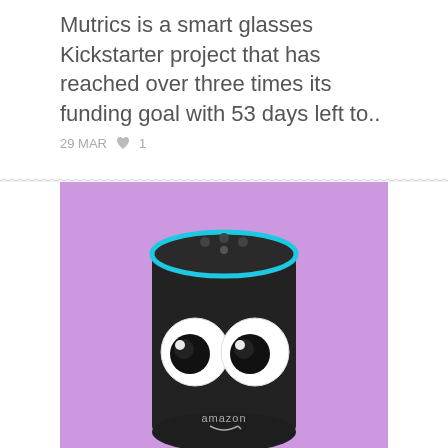Mutrics is a smart glasses Kickstarter project that has reached over three times its funding goal with 53 days left to..
29 MAR ♥ 1
[Figure (photo): Amazon Echo (2nd gen) smart speaker with a purple/lavender background, with googly eyes stuck on the front of the device. The Amazon logo is visible at the bottom of the device.]